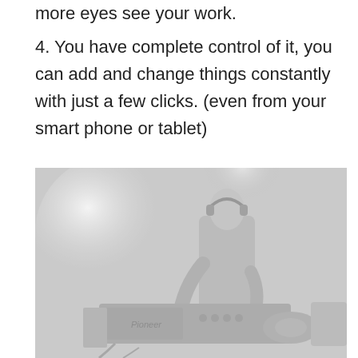more eyes see your work.
4. You have complete control of it, you can add and change things constantly with just a few clicks. (even from your smart phone or tablet)
[Figure (photo): A faded black and white photograph of a DJ performing at a Pioneer DJ setup, with a person (appearing to be female) wearing headphones and operating the turntables/mixer equipment on stage.]